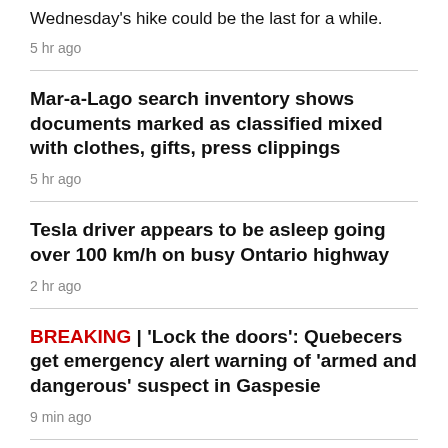Wednesday's hike could be the last for a while.
5 hr ago
Mar-a-Lago search inventory shows documents marked as classified mixed with clothes, gifts, press clippings
5 hr ago
Tesla driver appears to be asleep going over 100 km/h on busy Ontario highway
2 hr ago
BREAKING | 'Lock the doors': Quebecers get emergency alert warning of 'armed and dangerous' suspect in Gaspesie
9 min ago